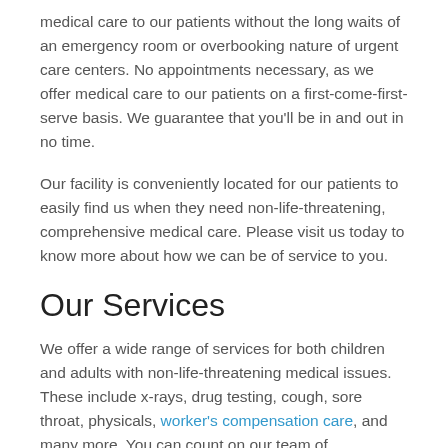medical care to our patients without the long waits of an emergency room or overbooking nature of urgent care centers. No appointments necessary, as we offer medical care to our patients on a first-come-first-serve basis. We guarantee that you'll be in and out in no time.
Our facility is conveniently located for our patients to easily find us when they need non-life-threatening, comprehensive medical care. Please visit us today to know more about how we can be of service to you.
Our Services
We offer a wide range of services for both children and adults with non-life-threatening medical issues. These include x-rays, drug testing, cough, sore throat, physicals, worker's compensation care, and many more. You can count on our team of experienced physicians, nurses, and other clinicians,